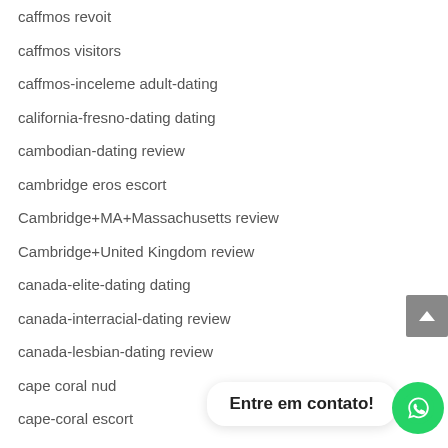caffmos revoit
caffmos visitors
caffmos-inceleme adult-dating
california-fresno-dating dating
cambodian-dating review
cambridge eros escort
Cambridge+MA+Massachusetts review
Cambridge+United Kingdom review
canada-elite-dating dating
canada-interracial-dating review
canada-lesbian-dating review
cape coral nud
cape-coral escort